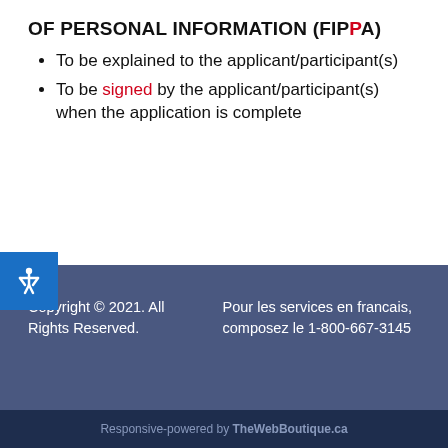OF PERSONAL INFORMATION (FIPPA)
To be explained to the applicant/participant(s)
To be signed by the applicant/participant(s) when the application is complete
Copyright © 2021. All Rights Reserved.
Pour les services en francais, composez le 1-800-667-3145
Responsive-powered by TheWebBoutique.ca